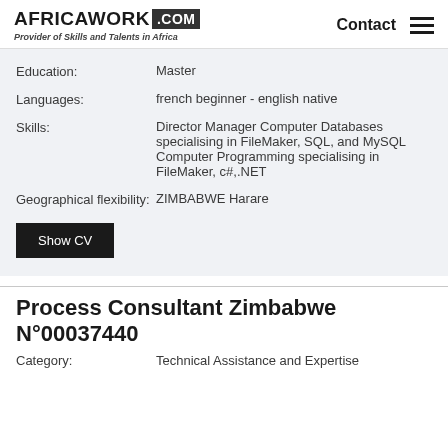AFRICAWORK .COM — Provider of Skills and Talents in Africa | Contact
Education: Master
Languages: french beginner - english native
Skills: Director Manager Computer Databases specialising in FileMaker, SQL, and MySQL Computer Programming specialising in FileMaker, c#,.NET
Geographical flexibility: ZIMBABWE Harare
Show CV
Process Consultant Zimbabwe N°00037440
Category: Technical Assistance and Expertise